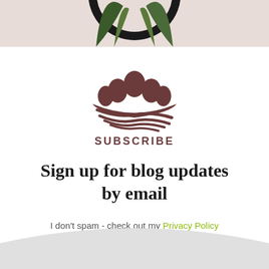[Figure (photo): Top portion of a photo showing a plant with dark green leaves and a black circular frame/ring against a light pinkish background]
[Figure (logo): Brown illustrated logo showing eggs in a nest with wavy lines beneath, and the word SUBSCRIBE in brown capital letters below]
Sign up for blog updates by email
I don't spam - check out my Privacy Policy
[Figure (illustration): Light grey curved/wavy background shape at the bottom of the page]